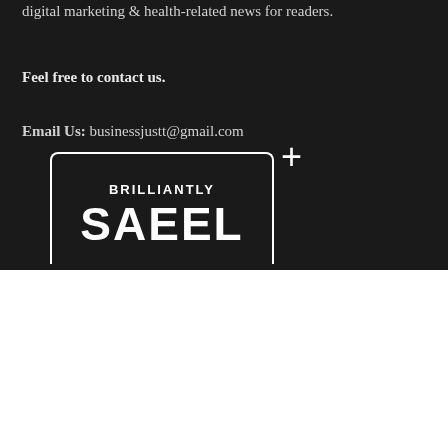digital marketing & health-related news for readers.
Feel free to contact us.
Email Us: businessjustt@gmail.com
[Figure (logo): Brilliantly SAFELY logo with white text on dark background, rounded box top border with plus sign]
We use cookies on our website to give you the most relevant experience by remembering your preferences and repeat visits. By clicking "Accept All", you consent to the use of ALL the cookies. However, you may visit "Cookie Settings" to provide a controlled consent.
Cookie Settings   Accept All